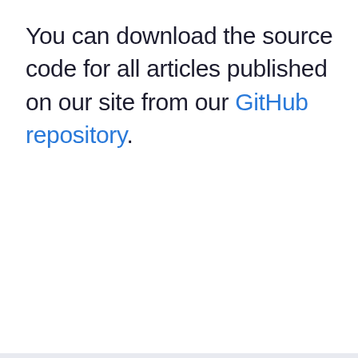You can download the source code for all articles published on our site from our GitHub repository.